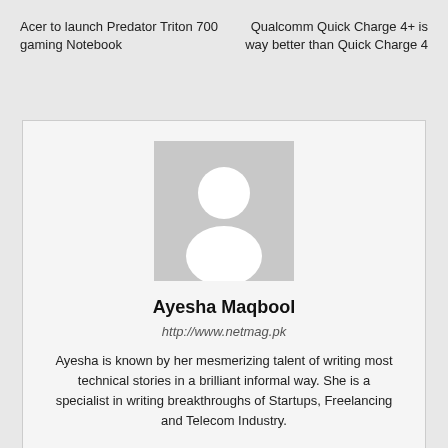Acer to launch Predator Triton 700 gaming Notebook	Qualcomm Quick Charge 4+ is way better than Quick Charge 4
[Figure (illustration): Generic user avatar placeholder image showing a silhouette of a person (head and shoulders) in white on a grey background]
Ayesha Maqbool
http://www.netmag.pk
Ayesha is known by her mesmerizing talent of writing most technical stories in a brilliant informal way. She is a specialist in writing breakthroughs of Startups, Freelancing and Telecom Industry.
[Figure (logo): Facebook 'f' logo icon]